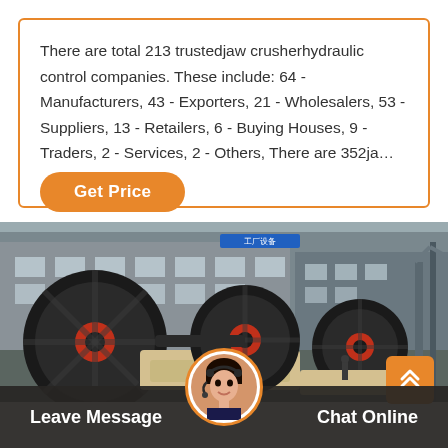There are total 213 trustedjaw crusherhydraulic control companies. These include: 64 - Manufacturers, 43 - Exporters, 21 - Wholesalers, 53 - Suppliers, 13 - Retailers, 6 - Buying Houses, 9 - Traders, 2 - Services, 2 - Others, There are 352ja…
[Figure (other): Orange rounded button labeled 'Get Price']
[Figure (photo): Factory floor photograph showing industrial jaw crusher machinery with large black flywheels and beige/cream colored crusher bodies, industrial building structure visible in background]
[Figure (other): Orange square button with double up-arrow chevron icon for scrolling back to top]
[Figure (photo): Circular avatar photo of a woman wearing a headset/microphone, representing a customer service representative]
Leave Message
Chat Online